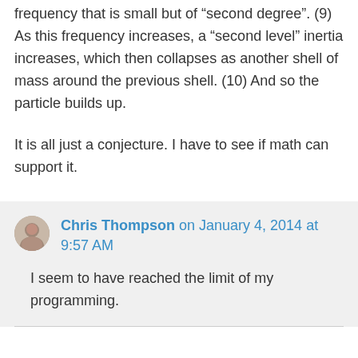frequency that is small but of “second degree”. (9) As this frequency increases, a “second level” inertia increases, which then collapses as another shell of mass around the previous shell. (10) And so the particle builds up.
It is all just a conjecture. I have to see if math can support it.
Chris Thompson on January 4, 2014 at 9:57 AM
I seem to have reached the limit of my programming.